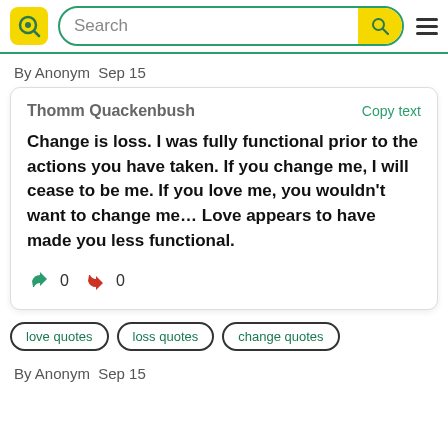Search
By Anonym  Sep 15
Thomm Quackenbush
Copy text

Change is loss. I was fully functional prior to the actions you have taken. If you change me, I will cease to be me. If you love me, you wouldn't want to change me… Love appears to have made you less functional.

👍 0  👎 0
love quotes
loss quotes
change quotes
By Anonym  Sep 15